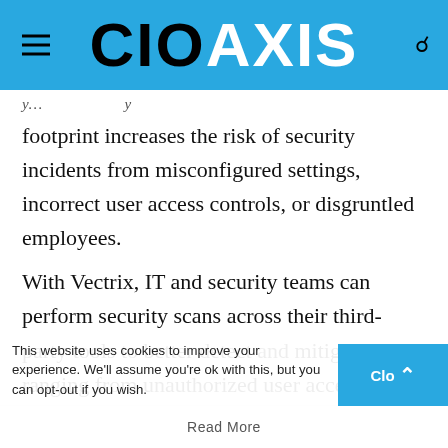CIOAXIS
footprint increases the risk of security incidents from misconfigured settings, incorrect user access controls, or disgruntled employees.
With Vectrix, IT and security teams can perform security scans across their third-party tools to better detect and mitigate issues ranging from unauthorized user access and file exposure to misconfigurations and shadow IT. Integrating Vectrix's API-driven cloud access security broker (CASB) with Cloudflare One provides enterprise with comprehensive Zero Trust control of both
This website uses cookies to improve your experience. We'll assume you're ok with this, but you can opt-out if you wish.
Read More